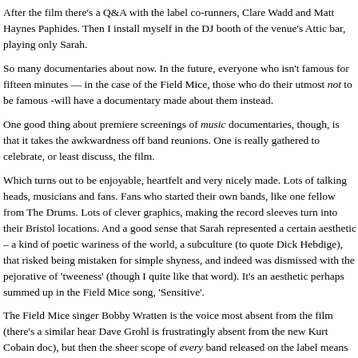After the film there's a Q&A with the label co-runners, Clare Wadd and Matt Haynes Paphides. Then I install myself in the DJ booth of the venue's Attic bar, playing only Sarah.
So many documentaries about now. In the future, everyone who isn't famous for fifteen minutes — in the case of the Field Mice, those who do their utmost not to be famous -will have a documentary made about them instead.
One good thing about premiere screenings of music documentaries, though, is that it takes the awkwardness off band reunions. One is really gathered to celebrate, or least discuss, the film.
Which turns out to be enjoyable, heartfelt and very nicely made. Lots of talking heads, musicians and fans. Fans who started their own bands, like one fellow from The Drums. Lots of clever graphics, making the record sleeves turn into their Bristol locations. And a good sense that Sarah represented a certain aesthetic – a kind of poetic wariness of the world, a subculture (to quote Dick Hebdige), that risked being mistaken for simple shyness, and indeed was dismissed with the pejorative of 'tweeness' (though I quite like that word). It's an aesthetic perhaps summed up in the Field Mice song, 'Sensitive'.
The Field Mice singer Bobby Wratten is the voice most absent from the film (there's a similar hear Dave Grohl is frustratingly absent from the new Kurt Cobain doc), but then the sheer scope of every band released on the label means that even the more popular bands' stories are